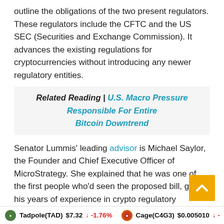outline the obligations of the two present regulators. These regulators include the CFTC and the US SEC (Securities and Exchange Commission). It advances the existing regulations for cryptocurrencies without introducing any newer regulatory entities.
Related Reading | U.S. Macro Pressure Responsible For Entire Bitcoin Downtrend
Senator Lummis' leading advisor is Michael Saylor, the Founder and Chief Executive Officer of MicroStrategy. She explained that he was one of the first people who'd seen the proposed bill, given his years of experience in crypto regulatory advocacy, investment, and cryptocurrencies.
In an interview with Lex Fridman on his show "Tech and Science", the MicroStrategy boss refused to differentiate digital currencies from stocks. Also, he stated that bitcoin and securities aren't the same.
Tadpole(TAD) $7.32 ↓ -1.76%   Cage(C4G3) $0.005010 ↓ -